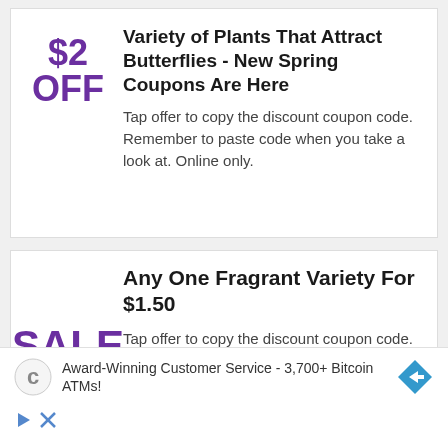Variety of Plants That Attract Butterflies - New Spring Coupons Are Here
Tap offer to copy the discount coupon code. Remember to paste code when you take a look at. Online only.
Any One Fragrant Variety For $1.50
Tap offer to copy the discount coupon code. Remember to paste code when
[Figure (other): Advertisement banner: Award-Winning Customer Service - 3,700+ Bitcoin ATMs! with a coin icon and directional arrow icon, plus play and close icons below.]